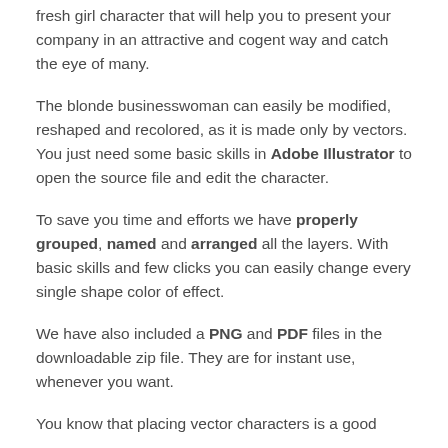fresh girl character that will help you to present your company in an attractive and cogent way and catch the eye of many.
The blonde businesswoman can easily be modified, reshaped and recolored, as it is made only by vectors. You just need some basic skills in Adobe Illustrator to open the source file and edit the character.
To save you time and efforts we have properly grouped, named and arranged all the layers. With basic skills and few clicks you can easily change every single shape color of effect.
We have also included a PNG and PDF files in the downloadable zip file. They are for instant use, whenever you want.
You know that placing vector characters is a good